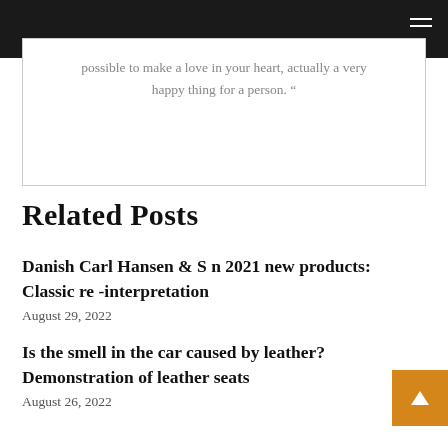possible to make a love in your heart, actually a very happy thing for a person. “
Related Posts
Danish Carl Hansen & S n 2021 new products: Classic re -interpretation
August 29, 2022
Is the smell in the car caused by leather? Demonstration of leather seats
August 26, 2022